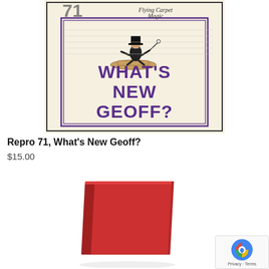[Figure (photo): Book cover of 'Repro 71, What's New Geoff?' — a magic booklet published by Flying Carpet Magic. Cover shows cream/off-white background with a bordered rectangle containing an illustration of a magician on a flying carpet and large purple bold text reading 'WHAT'S NEW GEOFF?'. Top left shows stylized '71' numerals.]
Repro 71, What's New Geoff?
$15.00
[Figure (photo): Photo of a small red hardcover book shown at an angle against a white background.]
Privacy · Terms